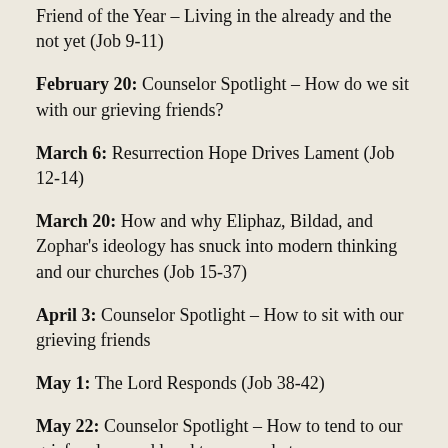Friend of the Year – Living in the already and the not yet (Job 9-11)
February 20: Counselor Spotlight – How do we sit with our grieving friends?
March 6: Resurrection Hope Drives Lament (Job 12-14)
March 20: How and why Eliphaz, Bildad, and Zophar's ideology has snuck into modern thinking and our churches (Job 15-37)
April 3: Counselor Spotlight – How to sit with our grieving friends
May 1: The Lord Responds (Job 38-42)
May 22: Counselor Spotlight – How to tend to our grief and second hand trauma; what